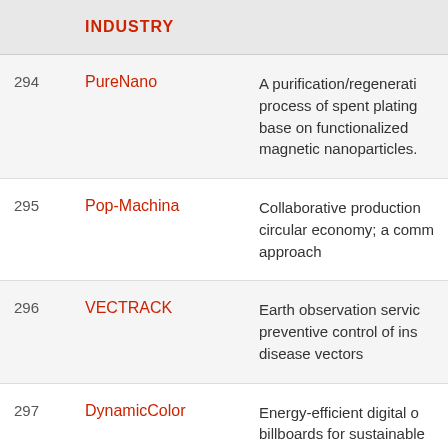|  | INDUSTRY |  |
| --- | --- | --- |
| 294 | PureNano | A purification/regeneration process of spent plating base on functionalized magnetic nanoparticles. |
| 295 | Pop-Machina | Collaborative production circular economy; a comm approach |
| 296 | VECTRACK | Earth observation service preventive control of ins disease vectors |
| 297 | DynamicColor | Energy-efficient digital o billboards for sustainable advertising |
| 298 | TalentMondo | Connecting families with optimal homecare provid through a real-time mach learning matching platf |